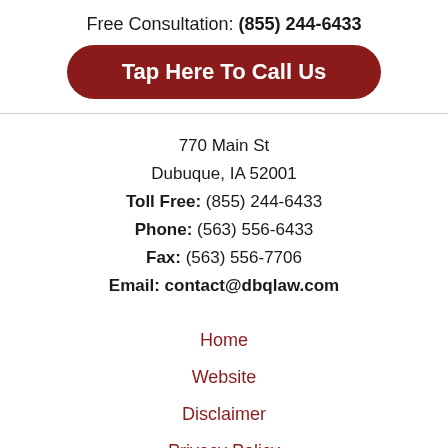Free Consultation: (855) 244-6433
Tap Here To Call Us
770 Main St
Dubuque, IA 52001
Toll Free: (855) 244-6433
Phone: (563) 556-6433
Fax: (563) 556-7706
Email: contact@dbqlaw.com
Home
Website
Disclaimer
Privacy Policy